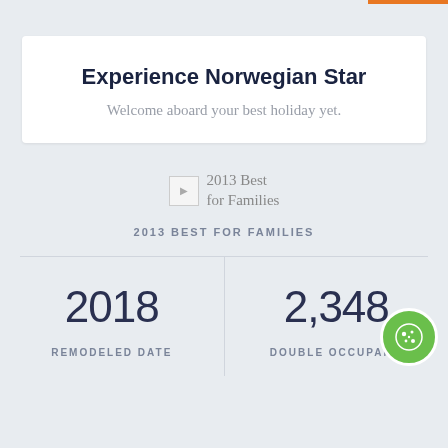Experience Norwegian Star
Welcome aboard your best holiday yet.
[Figure (logo): 2013 Best for Families award badge with broken image icon]
2013 BEST FOR FAMILIES
2018
REMODELED DATE
2,348
DOUBLE OCCUPANCY